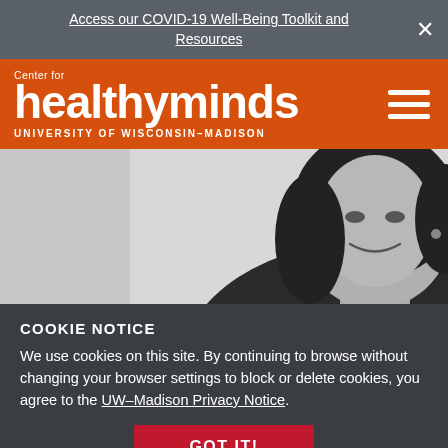Access our COVID-19 Well-Being Toolkit and Resources
[Figure (logo): Center for healthyminds University of Wisconsin-Madison logo on orange background with hamburger menu icon]
[Figure (photo): Black and white photo of a smiling woman with long dark hair wearing a dark top, cropped to show head and shoulders]
COOKIE NOTICE
We use cookies on this site. By continuing to browse without changing your browser settings to block or delete cookies, you agree to the UW–Madison Privacy Notice.
GOT IT!